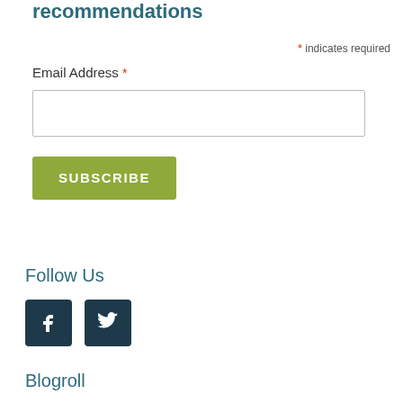recommendations
* indicates required
Email Address *
[Figure (screenshot): Empty email input text field with border]
[Figure (screenshot): SUBSCRIBE button with olive/green background]
Follow Us
[Figure (infographic): Facebook and Twitter social media icon buttons with dark teal background]
Blogroll